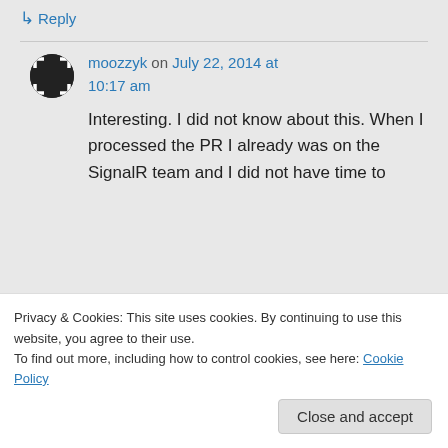Reply
moozzyk on July 22, 2014 at 10:17 am
Interesting. I did not know about this. When I processed the PR I already was on the SignalR team and I did not have time to
Privacy & Cookies: This site uses cookies. By continuing to use this website, you agree to their use.
To find out more, including how to control cookies, see here: Cookie Policy
Close and accept